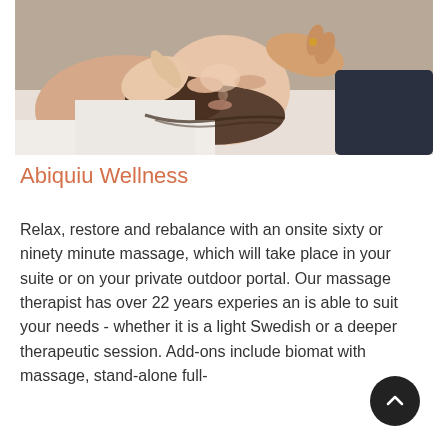[Figure (photo): A woman lying on a massage table receiving a head massage, with therapist hands visible on either side of her face. She has her eyes closed and appears relaxed.]
Abiquiu Wellness
Relax, restore and rebalance with an onsite sixty or ninety minute massage, which will take place in your suite or on your private outdoor portal. Our massage therapist has over 22 years experies an is able to suit your needs - whether it is a light Swedish or a deeper therapeutic session. Add-ons include biomat with massage, stand-alone full-